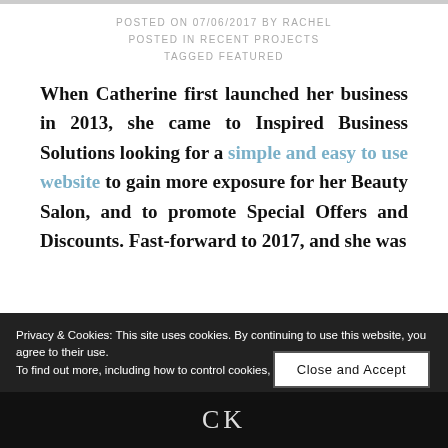POSTED ON 07/06/2017 BY RACHEL
POSTED IN RECENT PROJECTS
TAGGED FEATURED
When Catherine first launched her business in 2013, she came to Inspired Business Solutions looking for a simple and easy to use website to gain more exposure for her Beauty Salon, and to promote Special Offers and Discounts. Fast-forward to 2017, and she was
Privacy & Cookies: This site uses cookies. By continuing to use this website, you agree to their use.
To find out more, including how to control cookies, see here: Our Cookie Policy
Close and Accept
CK